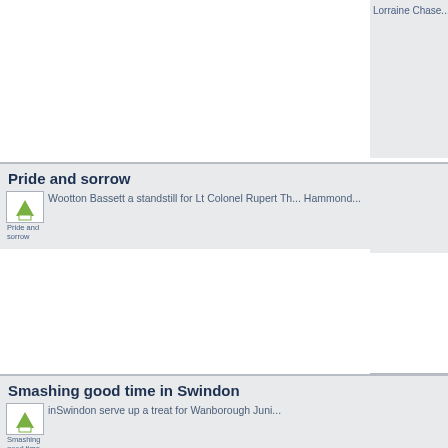Lorraine Chase...
Pride and sorrow
Wootton Bassett a standstill for Lt Colonel Rupert Th... Hammond...
Smashing good time in Swindon
inSwindon serve up a treat for Wanborough Juni...
Technology Strategy Board opens in Swindon
Technology Strategy Board opens new North S...
Switch-on for Swindon Computer Museum
Celebration as new museum ope...